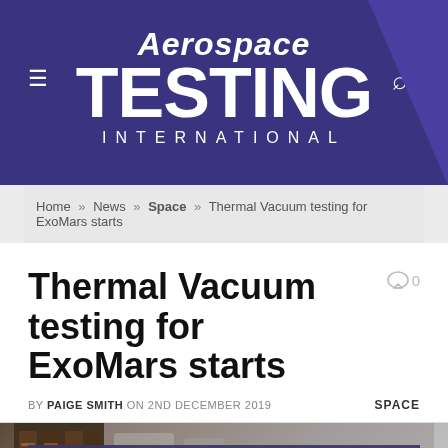[Figure (logo): Aerospace Testing International logo on purple/navy banner with hamburger menu icon on left and search icon on right]
Home » News » Space » Thermal Vacuum testing for ExoMars starts
Thermal Vacuum testing for ExoMars starts
BY PAIGE SMITH ON 2ND DECEMBER 2019   SPACE
[Figure (photo): Partial photo of testing equipment in a lab environment, partially obscured by cookie consent overlay]
This site uses cookies. By continuing to browse the site you are agreeing to our use of cookies. Find out more here [X]